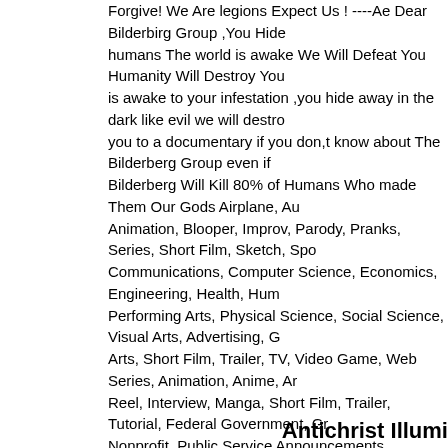Forgive! We Are legions Expect Us ! ----Ae Dear Bilderbirg Group ,You Hide humans The world is awake We Will Defeat You Humanity Will Destroy You is awake to your infestation ,you hide away in the dark like evil we will destro you to a documentary if you don,t know about The Bilderberg Group even if Bilderberg Will Kill 80% of Humans Who made Them Our Gods Airplane, Au Animation, Blooper, Improv, Parody, Pranks, Series, Short Film, Sketch, Spo Communications, Computer Science, Economics, Engineering, Health, Hum Performing Arts, Physical Science, Social Science, Visual Arts, Advertising, G Arts, Short Film, Trailer, TV, Video Game, Web Series, Animation, Anime, Ar Reel, Interview, Manga, Short Film, Trailer, Tutorial, Federal Government, Gr Nonprofit, Public Service Announcements, Regional Government, State Gov Finance, Fitness, Fashion, Food, Gardening, Health, Home, Music, Sports, T Country, Electronic, Folk, Hip-Hop, Indie, Jazz, Pop, R&B, Rap, Religious, R Commentary & Analysis, Documentary, Gotcha!, Grassroots Outreach, News
Category: Music
Tags: pop
Confession of a CIA Agent about FEMA - Imp
//www.youtube.com/watch? v=8K9dgqKmJ50&feature=relate
Confession of a CIA Agent about FEMA - Important !!! Martial Law over America. Leave America as fast as you can!!!!!!!!!!!!!!!!!!!!!!!!!! !!!!!!!!!!! !!!!!!!!!!!!!!!!!!!!!!!!!!!! !!!!!!!!!
Category: News & Politics
Tags: CIA Agent FEMA Illuminati Martial Law hell satan deat h new world order jesus Go d love heaven christians ho pe end-times
Antichrist Illumi